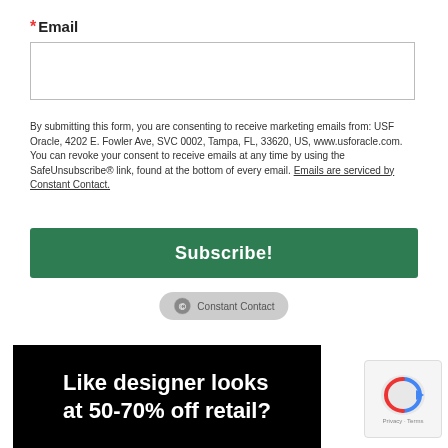*Email
By submitting this form, you are consenting to receive marketing emails from: USF Oracle, 4202 E. Fowler Ave, SVC 0002, Tampa, FL, 33620, US, www.usforacle.com. You can revoke your consent to receive emails at any time by using the SafeUnsubscribe® link, found at the bottom of every email. Emails are serviced by Constant Contact.
[Figure (other): Green Subscribe! button]
[Figure (logo): Constant Contact badge/logo]
[Figure (illustration): Black advertisement banner with white text: Like designer looks at 50-70% off retail?]
[Figure (other): reCAPTCHA badge with Privacy and Terms links]